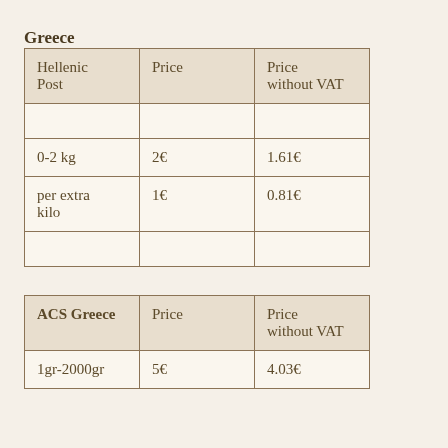Greece
| Hellenic Post | Price | Price without VAT |
| --- | --- | --- |
|  |  |  |
| 0-2 kg | 2€ | 1.61€ |
| per extra kilo | 1€ | 0.81€ |
|  |  |  |
| ACS Greece | Price | Price without VAT |
| --- | --- | --- |
| 1gr-2000gr | 5€ | 4.03€ |